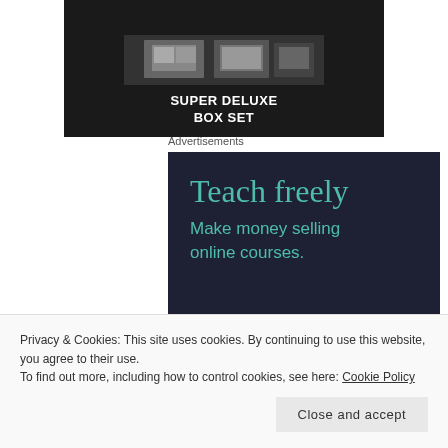[Figure (photo): Dark box set product image showing 'SUPER DELUXE BOX SET' text in white bold letters on black background with photo collage on top]
Advertisements
[Figure (illustration): Advertisement for Sensei on dark navy background: 'Teach freely' in large teal serif font, 'Make money selling online courses.' in smaller teal text, Sensei logo with tree icon at bottom left, 'Powered by WordPress.com' at bottom right]
Privacy & Cookies: This site uses cookies. By continuing to use this website, you agree to their use.
To find out more, including how to control cookies, see here: Cookie Policy
Close and accept